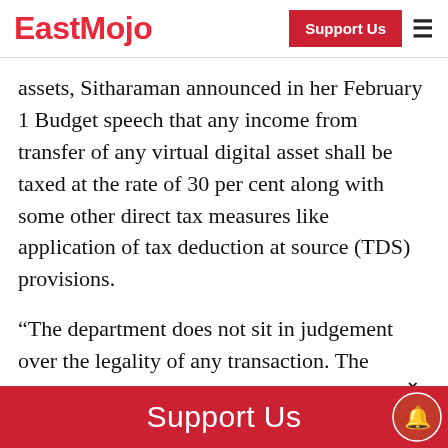EastMojo
assets, Sitharaman announced in her February 1 Budget speech that any income from transfer of any virtual digital asset shall be taxed at the rate of 30 per cent along with some other direct tax measures like application of tax deduction at source (TDS) provisions.
“The department does not sit in judgement over the legality of any transaction. The income-tax department and the income-tax
Support Us